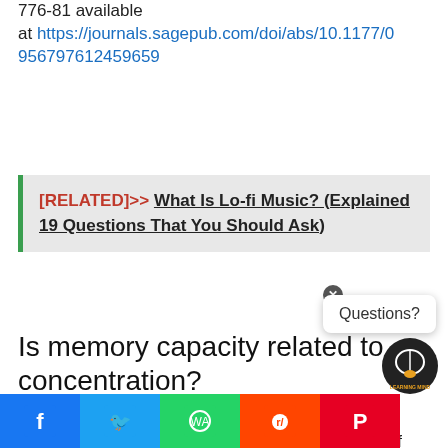776-81 available at https://journals.sagepub.com/doi/abs/10.1177/0956797612459659
[RELATED]>> What Is Lo-fi Music? (Explained 19 Questions That You Should Ask)
Is memory capacity related to concentration?
Yes, memory capacity is related to concentration. If you have a high working memory capacity, you will have no problem ignoring distractions and staying focused on the task at hand. Similarly, if you have developed the habit to stay focussed for a longer period by voluntarily avoiding distraction,